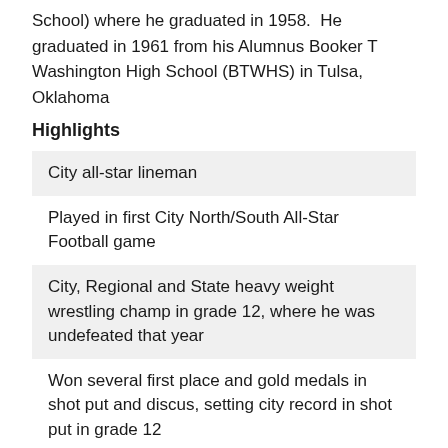School) where he graduated in 1958.  He graduated in 1961 from his Alumnus Booker T Washington High School (BTWHS) in Tulsa, Oklahoma
Highlights
City all-star lineman
Played in first City North/South All-Star Football game
City, Regional and State heavy weight wrestling champ in grade 12, where he was undefeated that year
Won several first place and gold medals in shot put and discus, setting city record in shot put in grade 12
Voted BTWHS Athlete Of The Year in grade 12
Inducted into the Edison High School Wrestling Tournament Hall of Fame in Tulsa, Oklahoma in 1973